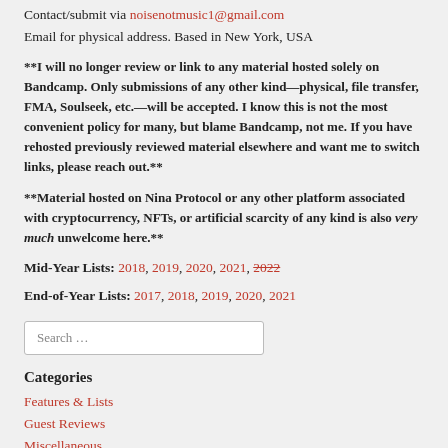Contact/submit via noisenotmusic1@gmail.com
Email for physical address. Based in New York, USA
**I will no longer review or link to any material hosted solely on Bandcamp. Only submissions of any other kind—physical, file transfer, FMA, Soulseek, etc.—will be accepted. I know this is not the most convenient policy for many, but blame Bandcamp, not me. If you have rehosted previously reviewed material elsewhere and want me to switch links, please reach out.**
**Material hosted on Nina Protocol or any other platform associated with cryptocurrency, NFTs, or artificial scarcity of any kind is also very much unwelcome here.**
Mid-Year Lists: 2018, 2019, 2020, 2021, 2022
End-of-Year Lists: 2017, 2018, 2019, 2020, 2021
Search …
Categories
Features & Lists
Guest Reviews
Miscellaneous